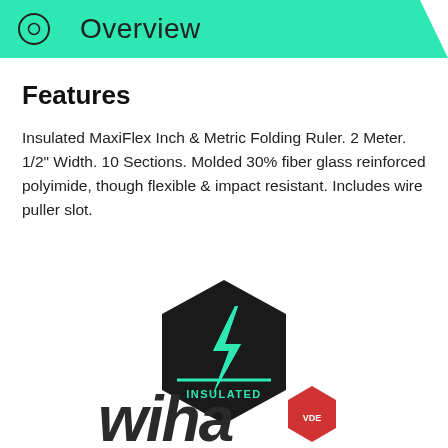Overview
Features
Insulated MaxiFlex Inch & Metric Folding Ruler. 2 Meter. 1/2" Width. 10 Sections. Molded 30% fiber glass reinforced polyimide, though flexible & impact resistant. Includes wire puller slot.
[Figure (logo): Black hexagon badge with green lightning bolt symbol and green line, with text INSULATED in green below the line]
[Figure (logo): Wiha brand logo in dark italic text with a red hexagon badge partially visible]